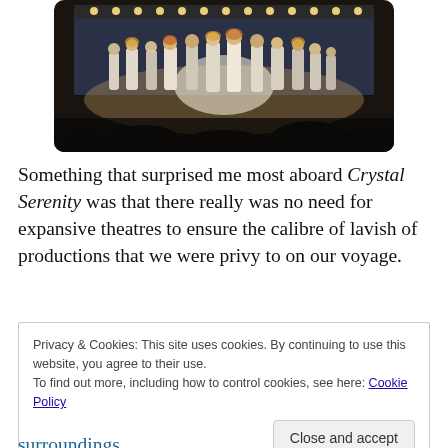[Figure (photo): Performance on a cruise ship stage with dancers in white outfits holding hands, bright stage lights, audience silhouettes in foreground]
Something that surprised me most aboard Crystal Serenity was that there really was no need for expansive theatres to ensure the calibre of lavish of productions that we were privy to on our voyage.
Privacy & Cookies: This site uses cookies. By continuing to use this website, you agree to their use.
To find out more, including how to control cookies, see here: Cookie Policy
Close and accept
surroundings.